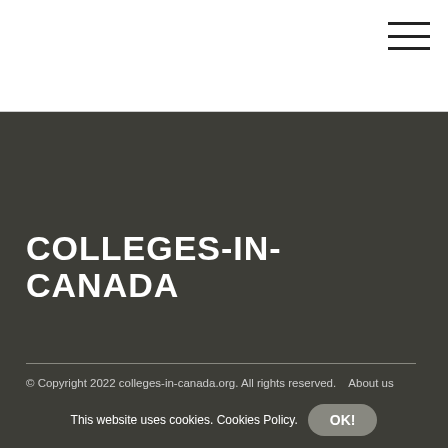COLLEGES-IN-CANADA
© Copyright 2022 colleges-in-canada.org. All rights reserved.   About us colleges-in-canada   Privacy
This website uses cookies. Cookies Policy.